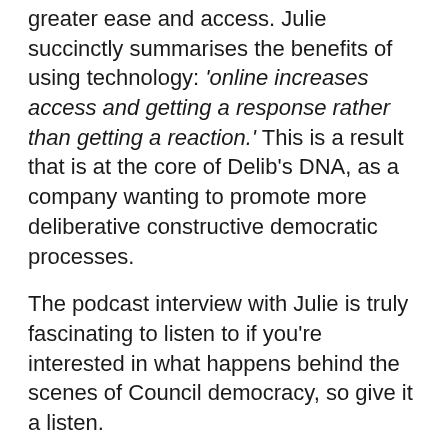greater ease and access. Julie succinctly summarises the benefits of using technology: 'online increases access and getting a response rather than getting a reaction.' This is a result that is at the core of Delib's DNA, as a company wanting to promote more deliberative constructive democratic processes.
The podcast interview with Julie is truly fascinating to listen to if you're interested in what happens behind the scenes of Council democracy, so give it a listen.
Finally, if you're in New Zealand you can talk to Hamish – Delib's NZ consultant based out of Christchurch – about everything Response Publishing and Citizen Space related. Email: hamish@delib.net